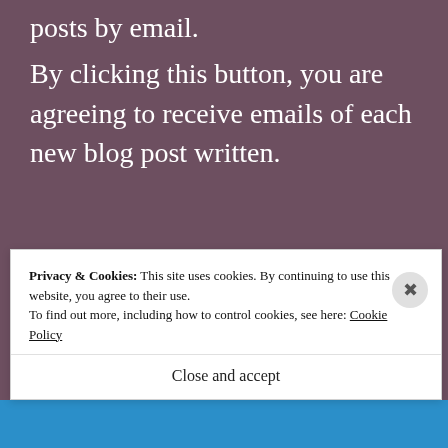posts by email.
By clicking this button, you are agreeing to receive emails of each new blog post written.
Email Address
Follow
Privacy & Cookies: This site uses cookies. By continuing to use this website, you agree to their use.
To find out more, including how to control cookies, see here: Cookie Policy
Close and accept